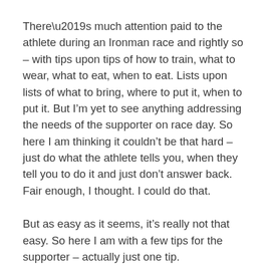There’s much attention paid to the athlete during an Ironman race and rightly so – with tips upon tips of how to train, what to wear, what to eat, when to eat. Lists upon lists of what to bring, where to put it, when to put it. But I’m yet to see anything addressing the needs of the supporter on race day. So here I am thinking it couldn’t be that hard – just do what the athlete tells you, when they tell you to do it and just don’t answer back. Fair enough, I thought. I could do that.
But as easy as it seems, it’s really not that easy. So here I am with a few tips for the supporter – actually just one tip.
BE PREPARED.